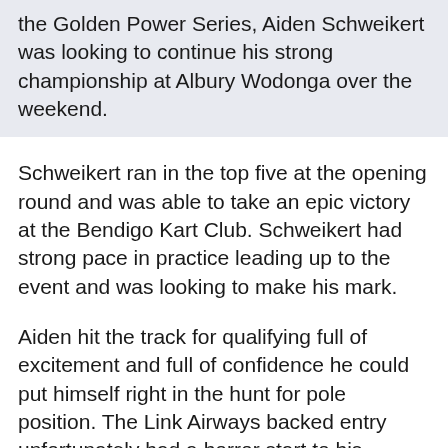the Golden Power Series, Aiden Schweikert was looking to continue his strong championship at Albury Wodonga over the weekend.
Schweikert ran in the top five at the opening round and was able to take an epic victory at the Bendigo Kart Club. Schweikert had strong pace in practice leading up to the event and was looking to make his mark.
Aiden hit the track for qualifying full of excitement and full of confidence he could put himself right in the hunt for pole position. The Link Airways backed entry unfortunately had a horror start to his weekend, dropping a chain and not setting a time in qualifying. Schweikert was now starting off the rear of the grid and was looking to make his way forward in the opening heat.